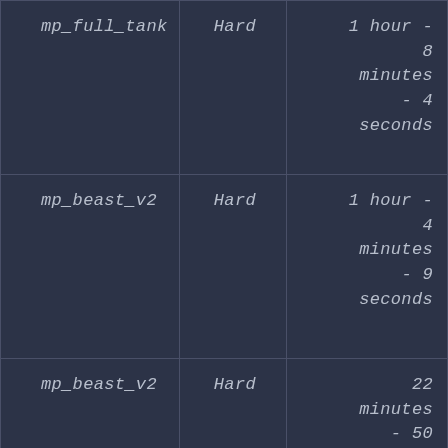| mp_full_tank | Hard | 1 hour - 8 minutes - 4 seconds |
| mp_beast_v2 | Hard | 1 hour - 4 minutes - 9 seconds |
| mp_beast_v2 | Hard | 22 minutes - 50 seconds |
| mp_beast_v2 | Hard | 31 minutes |